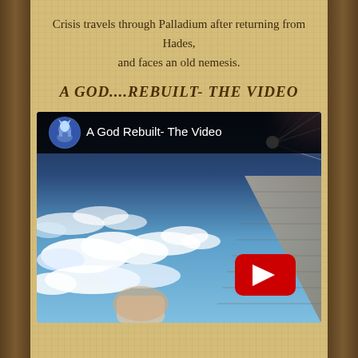Crisis travels through Palladium after returning from Hades, and faces an old nemesis.
A GOD....REBUILT- THE VIDEO
[Figure (screenshot): YouTube video thumbnail for 'A God Rebuilt- The Video' showing a blue sky with clouds and a bright light/star in the upper right corner, with a stone structure. YouTube play button overlay in the lower right. Channel avatar (armored figure) in upper left circle.]